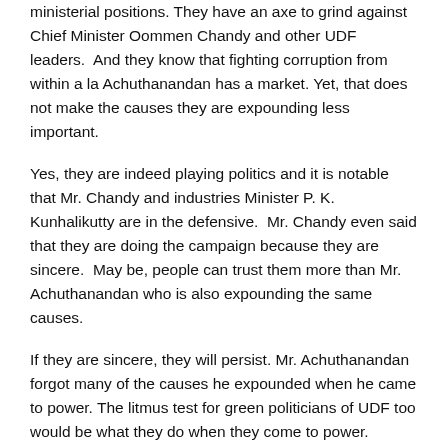ministerial positions. They have an axe to grind against Chief Minister Oommen Chandy and other UDF leaders.  And they know that fighting corruption from within a la Achuthanandan has a market. Yet, that does not make the causes they are expounding less important.
Yes, they are indeed playing politics and it is notable that Mr. Chandy and industries Minister P. K. Kunhalikutty are in the defensive.  Mr. Chandy even said that they are doing the campaign because they are sincere.  May be, people can trust them more than Mr. Achuthanandan who is also expounding the same causes.
If they are sincere, they will persist. Mr. Achuthanandan forgot many of the causes he expounded when he came to power. The litmus test for green politicians of UDF too would be what they do when they come to power.
Update: Well, we did not have to wait until they come to power to know how steadfast they would be on their views. The green politicians are now supporting tourism